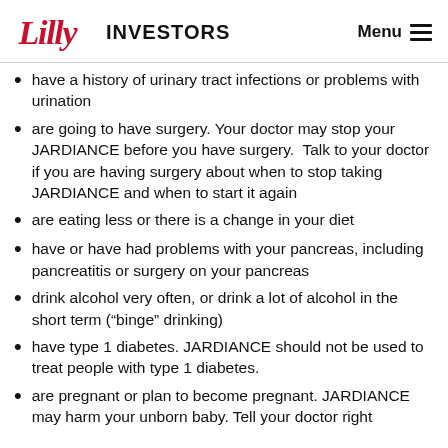Lilly INVESTORS Menu
have a history of urinary tract infections or problems with urination
are going to have surgery. Your doctor may stop your JARDIANCE before you have surgery.  Talk to your doctor if you are having surgery about when to stop taking JARDIANCE and when to start it again
are eating less or there is a change in your diet
have or have had problems with your pancreas, including pancreatitis or surgery on your pancreas
drink alcohol very often, or drink a lot of alcohol in the short term (“binge” drinking)
have type 1 diabetes. JARDIANCE should not be used to treat people with type 1 diabetes.
are pregnant or plan to become pregnant. JARDIANCE may harm your unborn baby. Tell your doctor right away if you become pregnant during treatment with